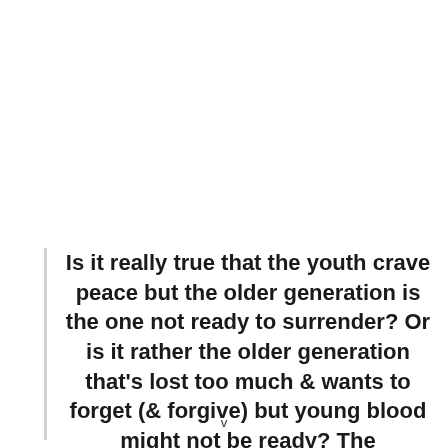Is it really true that the youth crave peace but the older generation is the one not ready to surrender? Or is it rather the older generation that's lost too much & wants to forget (& forgive) but young blood might not be ready? The
v